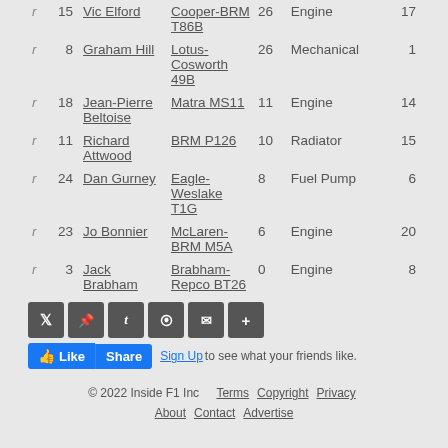| Pos | No | Driver | Car | Laps | Reason | Grid |
| --- | --- | --- | --- | --- | --- | --- |
| r | 15 | Vic Elford | Cooper-BRM T86B | 26 | Engine | 17 |
| r | 8 | Graham Hill | Lotus-Cosworth 49B | 26 | Mechanical | 1 |
| r | 18 | Jean-Pierre Beltoise | Matra MS11 | 11 | Engine | 14 |
| r | 11 | Richard Attwood | BRM P126 | 10 | Radiator | 15 |
| r | 24 | Dan Gurney | Eagle-Weslake T1G | 8 | Fuel Pump | 6 |
| r | 23 | Jo Bonnier | McLaren-BRM M5A | 6 | Engine | 20 |
| r | 3 | Jack Brabham | Brabham-Repco BT26 | 0 | Engine | 8 |
Social share buttons: Twitter, Pinterest, Tumblr, Mix, Email, More
Like | Share | Sign Up to see what your friends like.
© 2022 Inside F1 Inc   Terms   Copyright   Privacy   About   Contact   Advertise